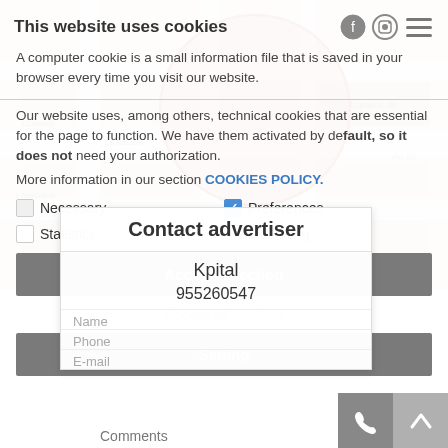This website uses cookies
A computer cookie is a small information file that is saved in your browser every time you visit our website.
Our website uses, among others, technical cookies that are essential for the page to function. We have them activated by default, as they do not need your authorization.
More information in our section COOKIES POLICY.
Necessary  Preferences  Statistics  Marketing
Accept selection
Accept all cookies
Setting
Contact advertiser
Kpital
955260547
Name
Phone
E-mail
Comments
[Figure (map): OpenStreetMap with red circle overlay, showing streets including Campos de Soria, Carmen, La Barzola, Manzana, Pio XII. Leaflet | © OpenStreetMap contributors attribution.]